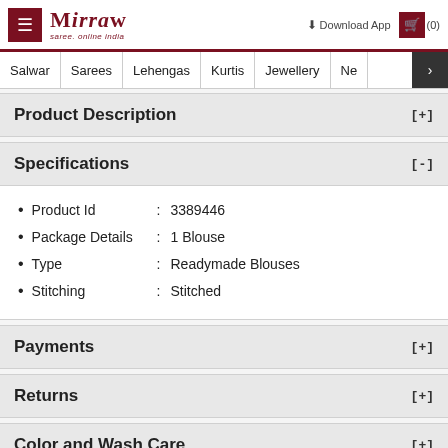Mirraw - Saree, online India | Download App | (0)
Salwar | Sarees | Lehengas | Kurtis | Jewellery | Ne >
Product Description [+]
Specifications [-]
Product Id : 3389446
Package Details : 1 Blouse
Type : Readymade Blouses
Stitching : Stitched
Payments [+]
Returns [+]
Color and Wash Care [+]